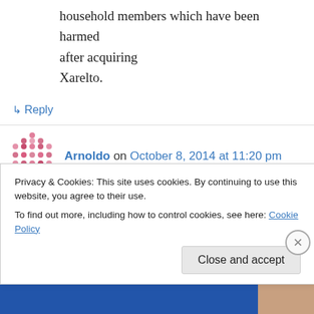household members which have been harmed after acquiring Xarelto.
↳ Reply
Arnoldo on October 8, 2014 at 11:20 pm
I know this web page offers quality depending articles and additional data, is there any other web page which provides these kinds of stuff in quality?
Privacy & Cookies: This site uses cookies. By continuing to use this website, you agree to their use.
To find out more, including how to control cookies, see here: Cookie Policy
Close and accept